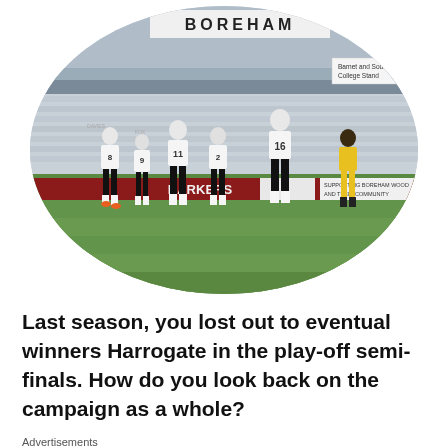[Figure (photo): Oval-cropped photo of a football match at Boreham Wood stadium. Several players in white and black kit face away from camera (numbered 8, 9, 11, 2, 16), with a player in yellow kit visible on the right. Stadium stand visible in background with BOREHAM signage and BARKERS advertising board. Barnet and South College Stand sign visible top right.]
Last season, you lost out to eventual winners Harrogate in the play-off semi-finals. How do you look back on the campaign as a whole?
Advertisements
[Figure (logo): Sensei logo - white tree icon with 'sensei' text in white on black background]